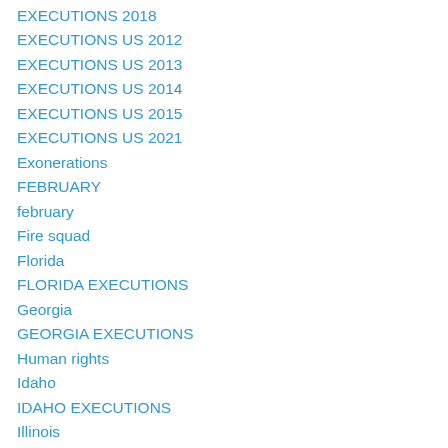EXECUTIONS 2018
EXECUTIONS US 2012
EXECUTIONS US 2013
EXECUTIONS US 2014
EXECUTIONS US 2015
EXECUTIONS US 2021
Exonerations
FEBRUARY
february
Fire squad
Florida
FLORIDA EXECUTIONS
Georgia
GEORGIA EXECUTIONS
Human rights
Idaho
IDAHO EXECUTIONS
Illinois
Indiana
INDIANA EXECUTIONS